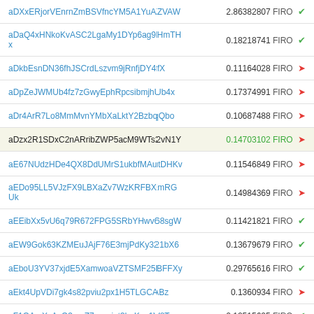| Address | Amount | Currency | Status |
| --- | --- | --- | --- |
| aDXxERjorVEnrnZmBSVfncYM5A1YuAZVAW | 2.86382807 | FIRO | ✔ |
| aDaQ4xHNkoKvASC2LgaMy1DYp6ag9HmTHx | 0.18218741 | FIRO | ✔ |
| aDkbEsnDN36fhJSCrdLszvm9jRnfjDY4fX | 0.11164028 | FIRO | → |
| aDpZeJWMUb4fz7zGwyEphRpcsibmjhUb4x | 0.17374991 | FIRO | → |
| aDr4ArR7Lo8MmMvnYMbXaLktY2BzbqQbo | 0.10687488 | FIRO | → |
| aDzx2R1SDxC2nARribZWP5acM9WTs2vN1Y | 0.14703102 | FIRO | → |
| aE67NUdzHDe4QX8DdUMrS1ukbfMAutDHKv | 0.11546849 | FIRO | → |
| aEDo95LL5VJzFX9LBXaZv7WzKRFBXmRGUk | 0.14984369 | FIRO | → |
| aEEibXx5vU6q79R672FPG5SRbYHwv68sgW | 0.11421821 | FIRO | ✔ |
| aEW9Gok63KZMEuJAjF76E3mjPdKy321bX6 | 0.13679679 | FIRO | ✔ |
| aEboU3YV37xjdE5XamwoaVZTSMF25BFFXy | 0.29765616 | FIRO | ✔ |
| aEkt4UpVDi7gk4s82pviu2px1H5TLGCABz | 0.1360934 | FIRO | → |
| aF1QArsXvAzQ3nmZ7zycojat3buKps1V8T | 0.12515605 | FIRO | ✔ |
| aF56rhZiyfqqqohunSSDgS6ejDwJ7DBALA | 0.21414054 | FIRO | → |
| aFXRQQWMdQeRpEKd3ENp9AKaUb3le... | 0.10990385 | FIRO |  |